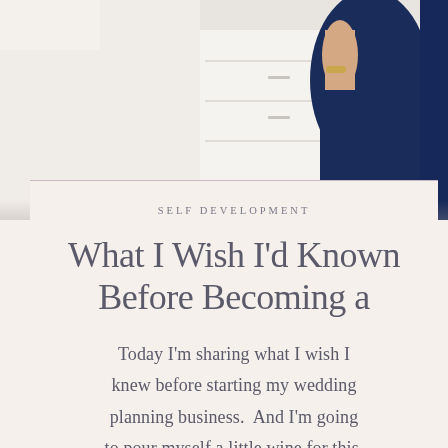[Figure (photo): Woman in a navy blue pleated dress standing near white drawers, partially cropped, bright background]
SELF DEVELOPMENT
What I Wish I'd Known Before Becoming a
Today I'm sharing what I wish I knew before starting my wedding planning business.  And I'm going to pour myself a little wine for this.